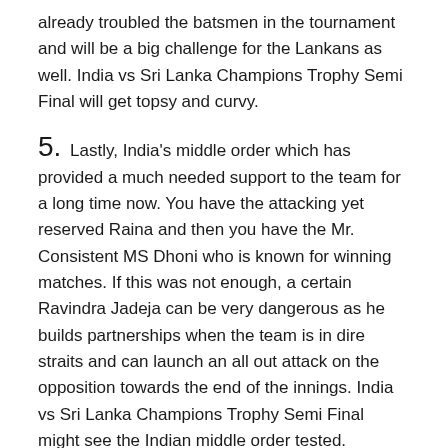already troubled the batsmen in the tournament and will be a big challenge for the Lankans as well. India vs Sri Lanka Champions Trophy Semi Final will get topsy and curvy.
5. Lastly, India's middle order which has provided a much needed support to the team for a long time now. You have the attacking yet reserved Raina and then you have the Mr. Consistent MS Dhoni who is known for winning matches. If this was not enough, a certain Ravindra Jadeja can be very dangerous as he builds partnerships when the team is in dire straits and can launch an all out attack on the opposition towards the end of the innings. India vs Sri Lanka Champions Trophy Semi Final might see the Indian middle order tested.